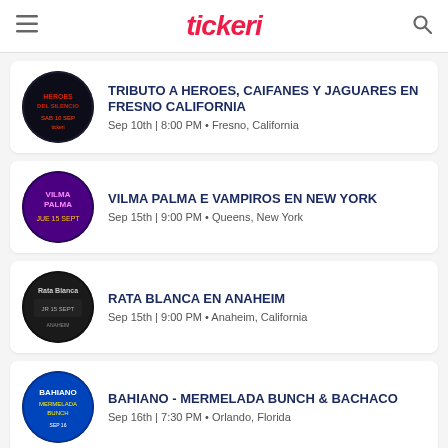tickeri
TRIBUTO A HEROES, CAIFANES Y JAGUARES EN FRESNO CALIFORNIA
Sep 10th | 8:00 PM • Fresno, California
VILMA PALMA E VAMPIROS EN NEW YORK
Sep 15th | 9:00 PM • Queens, New York
RATA BLANCA EN ANAHEIM
Sep 15th | 9:00 PM • Anaheim, California
BAHIANO - MERMELADA BUNCH & BACHACO
Sep 16th | 7:30 PM • Orlando, Florida